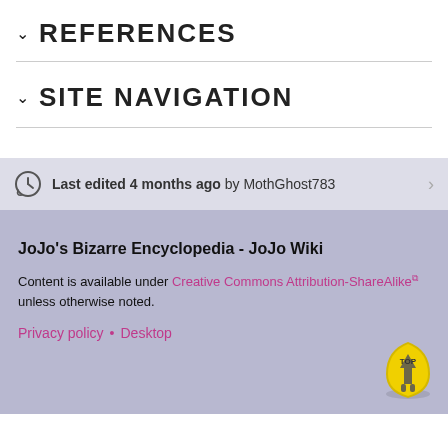REFERENCES
SITE NAVIGATION
Last edited 4 months ago by MothGhost783
JoJo's Bizarre Encyclopedia - JoJo Wiki
Content is available under Creative Commons Attribution-ShareAlike unless otherwise noted.
Privacy policy •Desktop